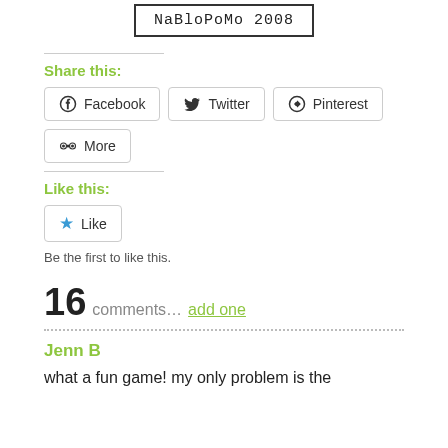[Figure (other): NaBloPoMo 2008 badge with border]
Share this:
[Figure (other): Social share buttons: Facebook, Twitter, Pinterest, More]
Like this:
[Figure (other): Like button with star icon]
Be the first to like this.
16 comments… add one
Jenn B
what a fun game! my only problem is the